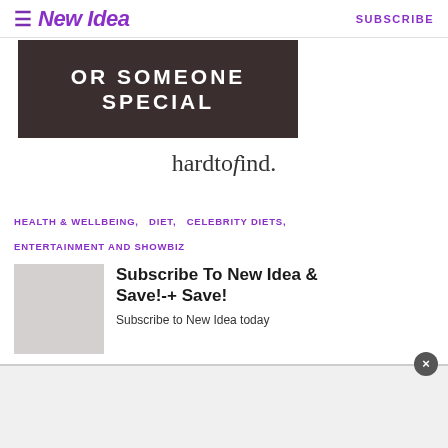New Idea   SUBSCRIBE
[Figure (illustration): Dark brown advertisement banner with white bold uppercase text reading 'OR SOMEONE SPECIAL']
[Figure (logo): hardtofind. logo in serif italic font]
HEALTH & WELLBEING,   DIET,   CELEBRITY DIETS,   ENTERTAINMENT AND SHOWBIZ
Subscribe To New Idea & Save!-+ Save!
Subscribe to New Idea today
[Figure (other): Bottom overlay bar with close button (×)]